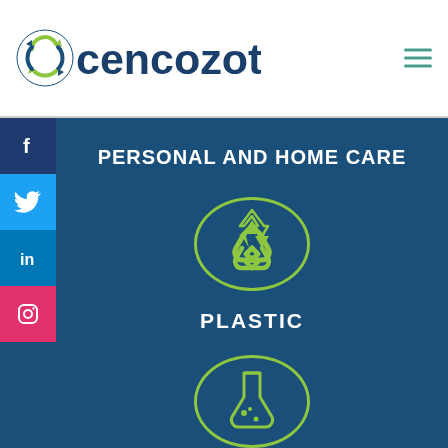[Figure (logo): Cencozotti company logo with circular arrows icon and dark blue text]
[Figure (illustration): Hamburger menu icon in teal/green color]
[Figure (illustration): Facebook icon social media button]
[Figure (illustration): Twitter icon social media button]
[Figure (illustration): LinkedIn icon social media button]
[Figure (illustration): Instagram icon social media button]
PERSONAL AND HOME CARE
[Figure (illustration): Recycling symbol icon inside a green circle outline on blue background]
PLASTIC
[Figure (illustration): Laboratory flask/beaker icon inside a green circle outline on blue background (partially visible)]